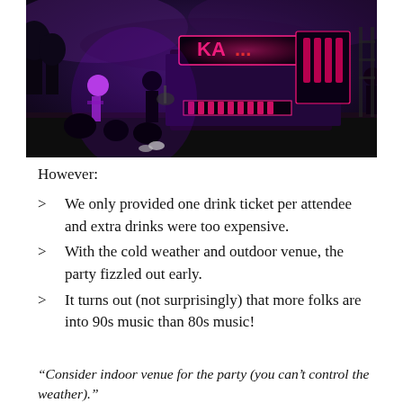[Figure (photo): A nighttime outdoor concert or party scene with musicians on stage, neon-lit signage reading 'KA...' in pink/red lights, purple and blue lighting, dark sky with clouds]
However:
We only provided one drink ticket per attendee and extra drinks were too expensive.
With the cold weather and outdoor venue, the party fizzled out early.
It turns out (not surprisingly) that more folks are into 90s music than 80s music!
“Consider indoor venue for the party (you can’t control the weather).”